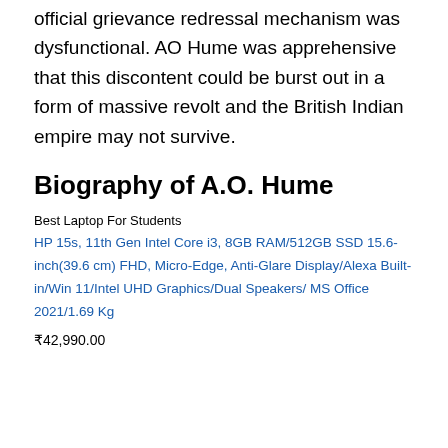official grievance redressal mechanism was dysfunctional. AO Hume was apprehensive that this discontent could be burst out in a form of massive revolt and the British Indian empire may not survive.
Biography of A.O. Hume
Best Laptop For Students
HP 15s, 11th Gen Intel Core i3, 8GB RAM/512GB SSD 15.6-inch(39.6 cm) FHD, Micro-Edge, Anti-Glare Display/Alexa Built-in/Win 11/Intel UHD Graphics/Dual Speakers/ MS Office 2021/1.69 Kg
₹42,990.00